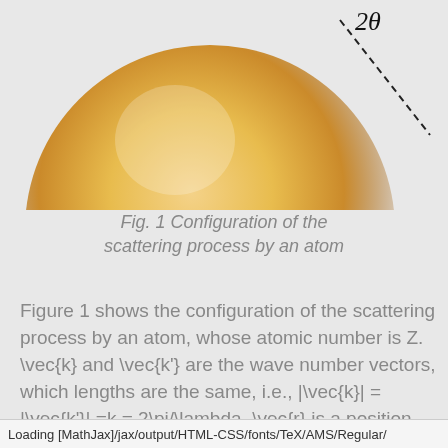[Figure (illustration): Partial view of a golden/amber colored sphere (atom) on a grey background with a dashed line extending from upper right indicating the 2θ scattering angle, shown with italic '2θ' label.]
Fig. 1 Configuration of the scattering process by an atom
Figure 1 shows the configuration of the scattering process by an atom, whose atomic number is Z. \vec{k} and \vec{k'} are the wave number vectors, which lengths are the same, i.e., |\vec{k}| = |\vec{k'}| =k = 2\pi/\lambda, \vec{r} is a position where we evaluate the interference of x-ray, \rho(\vec{r}) is an electron density at \vec{r}, and \diff V is a
Loading [MathJax]/jax/output/HTML-CSS/fonts/TeX/AMS/Regular/